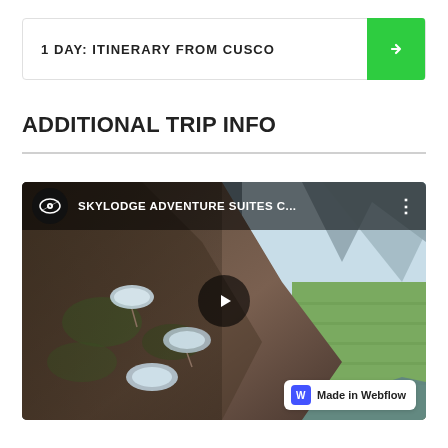1 DAY: ITINERARY FROM CUSCO
ADDITIONAL TRIP INFO
[Figure (screenshot): YouTube video thumbnail showing Skylodge Adventure Suites cliff-hanging pods in a mountain valley. Title reads 'SKYLODGE ADVENTURE SUITES C...' with a play button overlay and a 'Made in Webflow' badge at bottom right.]